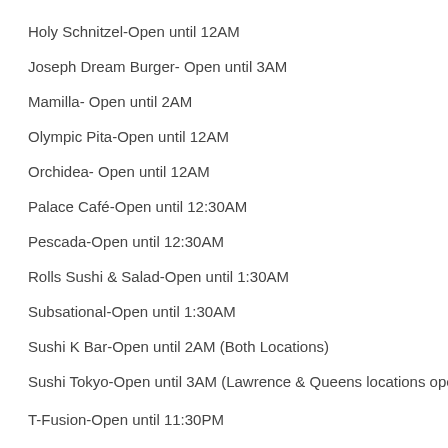Holy Schnitzel-Open until 12AM
Joseph Dream Burger- Open until 3AM
Mamilla- Open until 2AM
Olympic Pita-Open until 12AM
Orchidea- Open until 12AM
Palace Café-Open until 12:30AM
Pescada-Open until 12:30AM
Rolls Sushi & Salad-Open until 1:30AM
Subsational-Open until 1:30AM
Sushi K Bar-Open until 2AM (Both Locations)
Sushi Tokyo-Open until 3AM (Lawrence & Queens locations open until 2AM)
T-Fusion-Open until 11:30PM